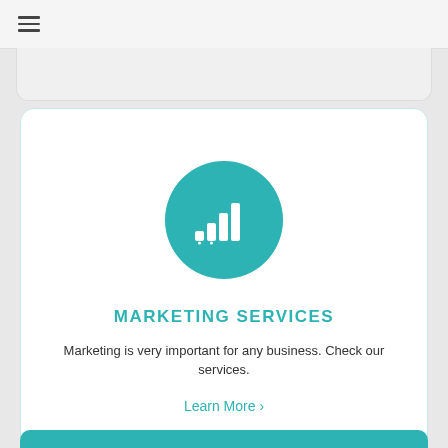☰
[Figure (illustration): Teal circle with white bar chart / signal strength icon inside]
MARKETING SERVICES
Marketing is very important for any business. Check our services.
Learn More ›